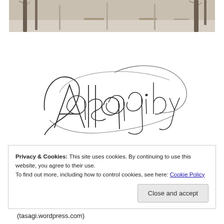[Figure (photo): Winter park scene with bare trees and snow-covered ground, benches visible in the background. Sepia/muted tones.]
[Figure (illustration): Handwritten cursive signature/logo reading 'Tasagi by Alla' in decorative calligraphic script.]
Privacy & Cookies: This site uses cookies. By continuing to use this website, you agree to their use.
To find out more, including how to control cookies, see here: Cookie Policy
Close and accept
(tasagi.wordpress.com)